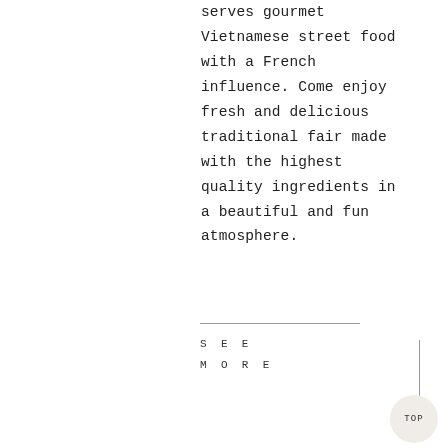serves gourmet Vietnamese street food with a French influence. Come enjoy fresh and delicious traditional fair made with the highest quality ingredients in a beautiful and fun atmosphere.
SEE MORE